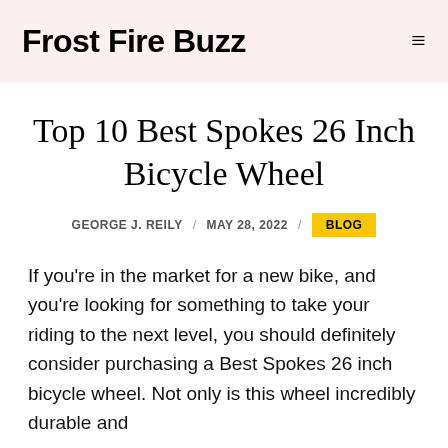Frost Fire Buzz
Top 10 Best Spokes 26 Inch Bicycle Wheel
GEORGE J. REILY / MAY 28, 2022 / BLOG
If you're in the market for a new bike, and you're looking for something to take your riding to the next level, you should definitely consider purchasing a Best Spokes 26 inch bicycle wheel. Not only is this wheel incredibly durable and